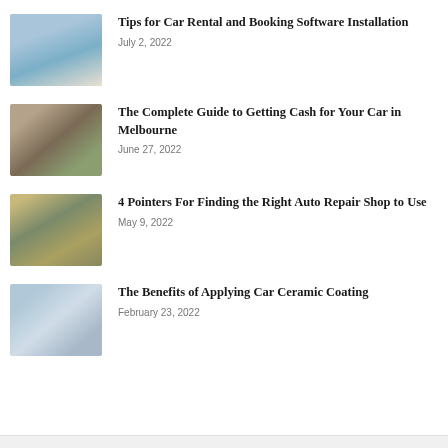[Figure (photo): Laptop with car rental booking website on screen, person using phone nearby]
Tips for Car Rental and Booking Software Installation
July 2, 2022
[Figure (photo): Hands holding fan of US dollar bills on a textured surface]
The Complete Guide to Getting Cash for Your Car in Melbourne
June 27, 2022
[Figure (photo): Auto repair shop interior with cars and yellow equipment]
4 Pointers For Finding the Right Auto Repair Shop to Use
May 9, 2022
[Figure (photo): Person applying ceramic coating to a white car]
The Benefits of Applying Car Ceramic Coating
February 23, 2022